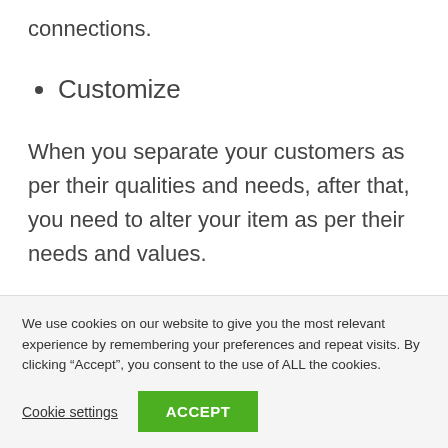connections.
Customize
When you separate your customers as per their qualities and needs, after that, you need to alter your item as per their needs and values.
Alter the offer and interchanges to guarantee that the
We use cookies on our website to give you the most relevant experience by remembering your preferences and repeat visits. By clicking “Accept”, you consent to the use of ALL the cookies.
Cookie settings
ACCEPT